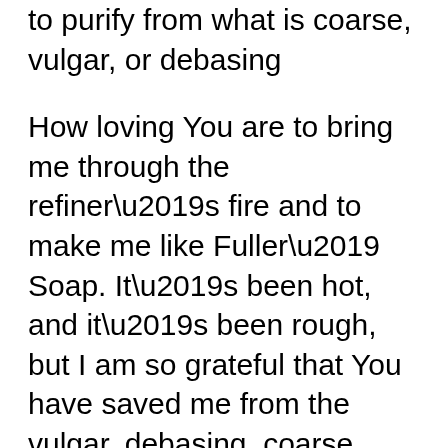to purify from what is coarse, vulgar, or debasing
How loving You are to bring me through the refiner’s fire and to make me like Fuller’ Soap. It’s been hot, and it’s been rough, but I am so grateful that You have saved me from the vulgar, debasing, coarse things that were taught to me as normal, and from the oil and the dirt that clings to my life. You desire me to be pure. No one else could take ashes and make it pure! Thank You for coming for me, Jesus! Thank You for having faith in me. Thank You for Your Holy Spirit putting an undying love and an undying faith for You in me! Thank You for...